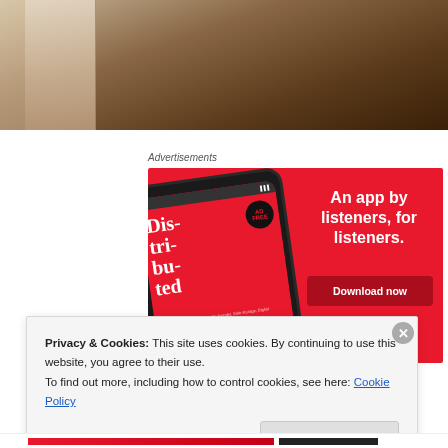[Figure (photo): Top portion of a webpage showing a wooden/fabric background photo, cropped at the top of the page]
Advertisements
[Figure (infographic): Red advertisement banner for a podcast app showing a smartphone with 'Dis-tri-bu-ted' podcast, text 'An app by listeners, for listeners.' and a 'Download now' button]
Privacy & Cookies: This site uses cookies. By continuing to use this website, you agree to their use.
To find out more, including how to control cookies, see here: Cookie Policy
Close and accept